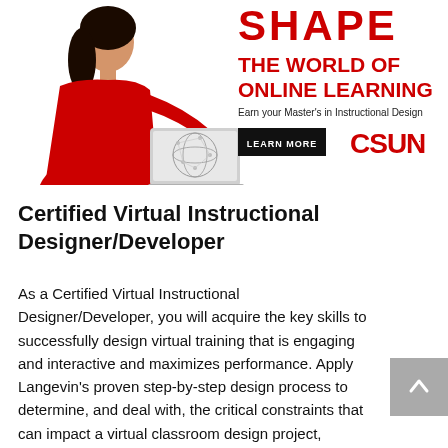[Figure (illustration): CSUN advertisement banner showing a woman in red holding a laptop with a digital globe, promoting a Master's in Instructional Design. Text reads: SHAPE THE WORLD OF ONLINE LEARNING. Earn your Master's in Instructional Design. LEARN MORE button. CSUN logo.]
Certified Virtual Instructional Designer/Developer
As a Certified Virtual Instructional Designer/Developer, you will acquire the key skills to successfully design virtual training that is engaging and interactive and maximizes performance. Apply Langevin's proven step-by-step design process to determine, and deal with, the critical constraints that can impact a virtual classroom design project, determine timing parameters for the course.